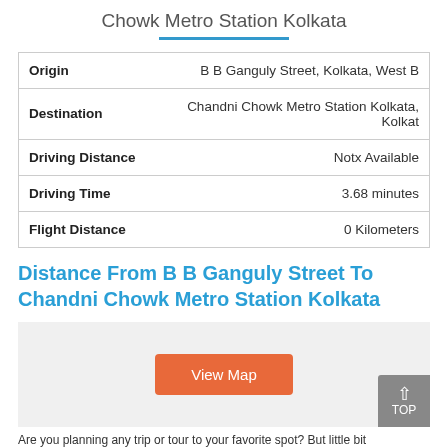Chowk Metro Station Kolkata
| Field | Value |
| --- | --- |
| Origin | B B Ganguly Street, Kolkata, West B |
| Destination | Chandni Chowk Metro Station Kolkata, Kolkat |
| Driving Distance | Notx Available |
| Driving Time | 3.68 minutes |
| Flight Distance | 0 Kilometers |
Distance From B B Ganguly Street To Chandni Chowk Metro Station Kolkata
[Figure (other): Map placeholder with View Map button and TOP scroll button]
Are you planning any trip or tour to your favorite spot? But little bit